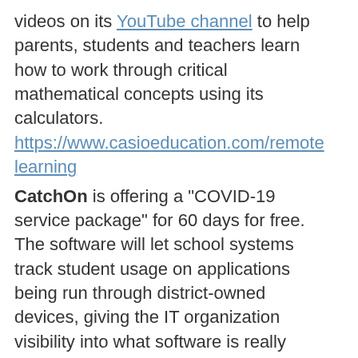videos on its YouTube channel to help parents, students and teachers learn how to work through critical mathematical concepts using its calculators. https://www.casioeducation.com/remotelearning
CatchOn is offering a "COVID-19 service package" for 60 days for free. The software will let school systems track student usage on applications being run through district-owned devices, giving the IT organization visibility into what software is really being used and to what extent. https://www.catchon.com/covid-response/
CenterPoint is providing free access to diagnostic and interim assessments in English language arts/literacy and math in grades K-11,